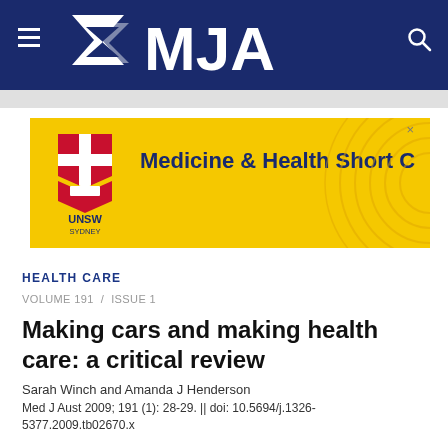[Figure (logo): MJA (Medical Journal of Australia) website header with navy blue background, white MJA logo with chevron/arrow mark, hamburger menu icon on left, search icon on right]
[Figure (photo): UNSW Sydney advertisement banner with yellow background showing UNSW Sydney crest/coat of arms and text 'Medicine & Health Short C' (truncated), with decorative circular arc pattern on right side]
HEALTH CARE
VOLUME 191  /  ISSUE 1
Making cars and making health care: a critical review
Sarah Winch and Amanda J Henderson
Med J Aust 2009; 191 (1): 28-29. || doi: 10.5694/j.1326-5377.2009.tb02670.x